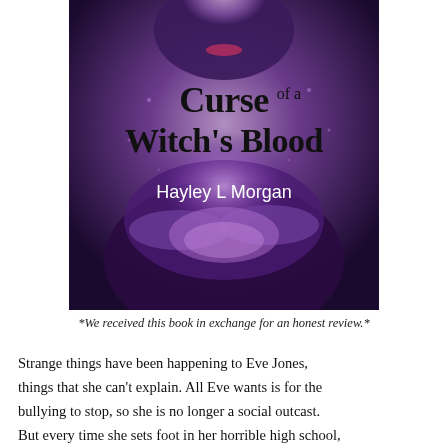[Figure (illustration): Book cover of 'Curse of a Witch's Blood' by Hayley L Morgan. Dark purple/blue background with a close-up of a person's torso and hands, with glowing purple light. Title text in large black serif font reading 'Curse of a Witch's Blood' and author name 'Hayley L Morgan' in white.]
*We received this book in exchange for an honest review.*
Strange things have been happening to Eve Jones, things that she can't explain. All Eve wants is for the bullying to stop, so she is no longer a social outcast. But every time she sets foot in her horrible high school, lockers go awry and inanimate objects crash...